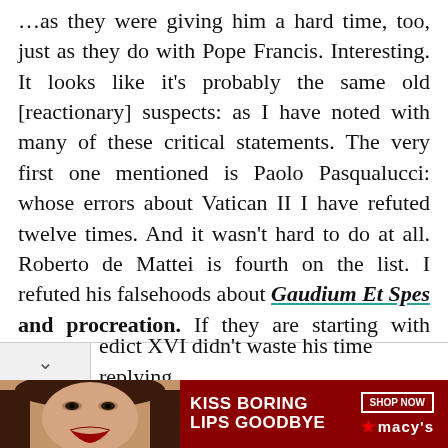…as they were giving him a hard time, too, just as they do with Pope Francis. Interesting. It looks like it's probably the same old [reactionary] suspects: as I have noted with many of these critical statements. The very first one mentioned is Paolo Pasqualucci: whose errors about Vatican II I have refuted twelve times. And it wasn't hard to do at all. Roberto de Mattei is fourth on the list. I refuted his falsehoods about Gaudium Et Spes and procreation. If they are starting with false premises, then I can see why Pope Benedict XVI didn't waste his time replying
[Figure (photo): Macy's advertisement banner: 'KISS BORING LIPS GOODBYE' with a woman's face wearing red lipstick, and a 'SHOP NOW' button with the Macy's star logo on a dark red background.]